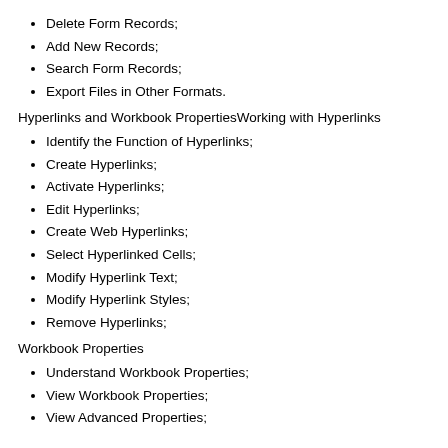Delete Form Records;
Add New Records;
Search Form Records;
Export Files in Other Formats.
Hyperlinks and Workbook PropertiesWorking with Hyperlinks
Identify the Function of Hyperlinks;
Create Hyperlinks;
Activate Hyperlinks;
Edit Hyperlinks;
Create Web Hyperlinks;
Select Hyperlinked Cells;
Modify Hyperlink Text;
Modify Hyperlink Styles;
Remove Hyperlinks;
Workbook Properties
Understand Workbook Properties;
View Workbook Properties;
View Advanced Properties;